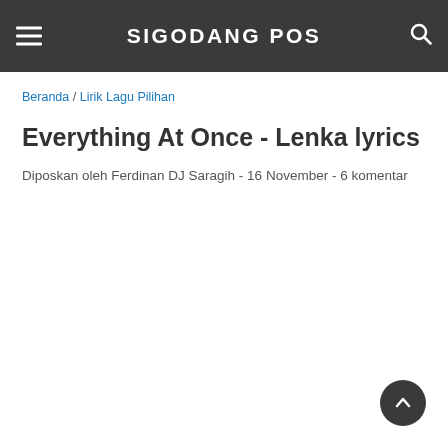SIGODANG POS
Beranda / Lirik Lagu Pilihan
Everything At Once - Lenka lyrics
Diposkan oleh Ferdinan DJ Saragih  -  16 November  -  6 komentar